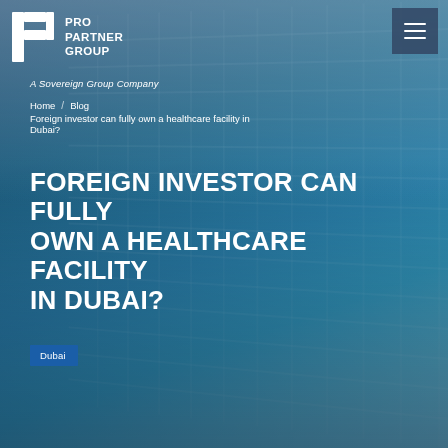[Figure (photo): Hero background image of a glass building facade shot from below, showing geometric grid of glass panels with blue sky and clouds reflected. Dark blue/teal color tone.]
PRO PARTNER GROUP
A Sovereign Group Company
Home / Blog / Foreign investor can fully own a healthcare facility in Dubai?
FOREIGN INVESTOR CAN FULLY OWN A HEALTHCARE FACILITY IN DUBAI?
Dubai